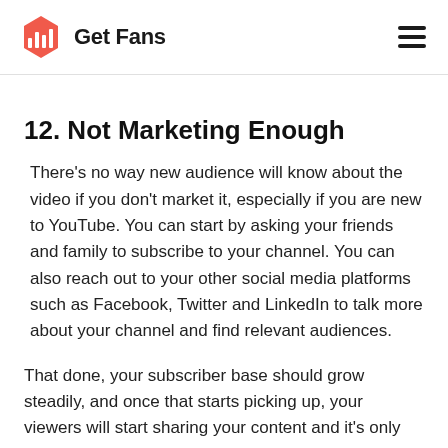Get Fans
12. Not Marketing Enough
There's no way new audience will know about the video if you don't market it, especially if you are new to YouTube. You can start by asking your friends and family to subscribe to your channel. You can also reach out to your other social media platforms such as Facebook, Twitter and LinkedIn to talk more about your channel and find relevant audiences.
That done, your subscriber base should grow steadily, and once that starts picking up, your viewers will start sharing your content and it's only organic growth from